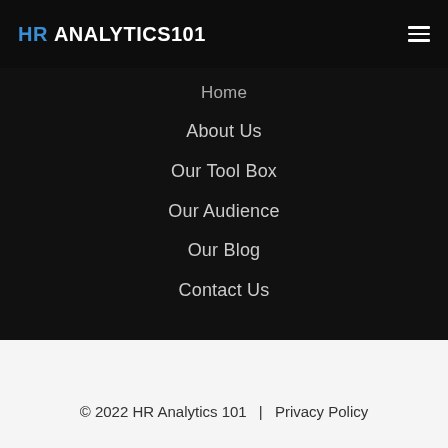HR ANALYTICS101
Home
About Us
Our Tool Box
Our Audience
Our Blog
Contact Us
© 2022 HR Analytics 101 | Privacy Policy